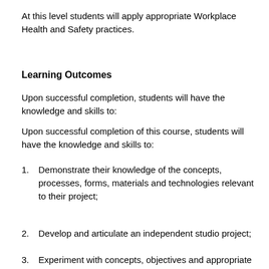At this level students will apply appropriate Workplace Health and Safety practices.
Learning Outcomes
Upon successful completion, students will have the knowledge and skills to:
Upon successful completion of this course, students will have the knowledge and skills to:
Demonstrate their knowledge of the concepts, processes, forms, materials and technologies relevant to their project;
Develop and articulate an independent studio project;
Experiment with concepts, objectives and appropriate processes by thinking creatively, critically and reflectively;